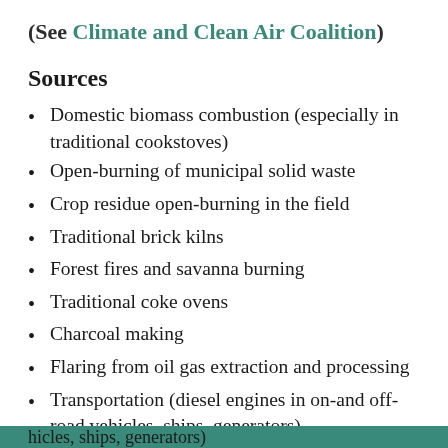(See Climate and Clean Air Coalition)
Sources
Domestic biomass combustion (especially in traditional cookstoves)
Open-burning of municipal solid waste
Crop residue open-burning in the field
Traditional brick kilns
Forest fires and savanna burning
Traditional coke ovens
Charcoal making
Flaring from oil gas extraction and processing
Transportation (diesel engines in on-and off-road vehicles, ships, generators)
hicles, ships, generators)